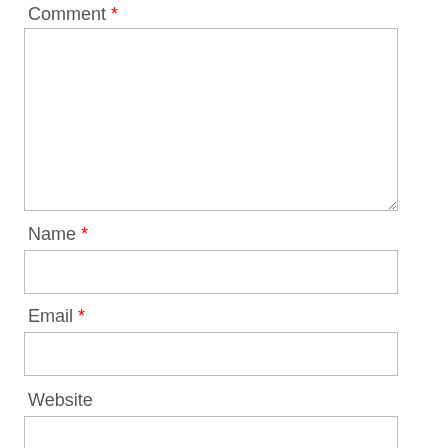Comment *
[Figure (screenshot): Textarea input box for Comment field]
Name *
[Figure (screenshot): Text input box for Name field]
Email *
[Figure (screenshot): Text input box for Email field]
Website
[Figure (screenshot): Text input box for Website field]